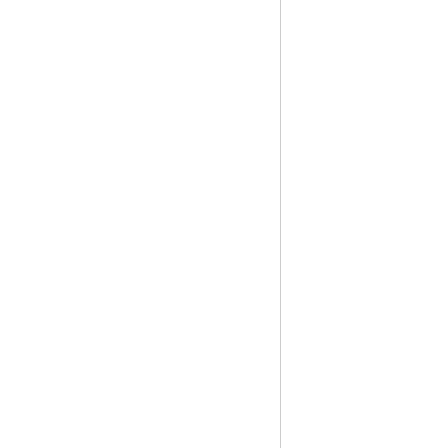ComponentModel"/>

            <remove assembly="System.ComponentModel.Annotations"/>

            <remove assembly="System.ComponentModel.EventBasedAsync"/>

            <remove assembly="System.Diagnostics.Contracts"/>

            <remove assembly="System.Diagnostics.Debug"
            />

            <remove